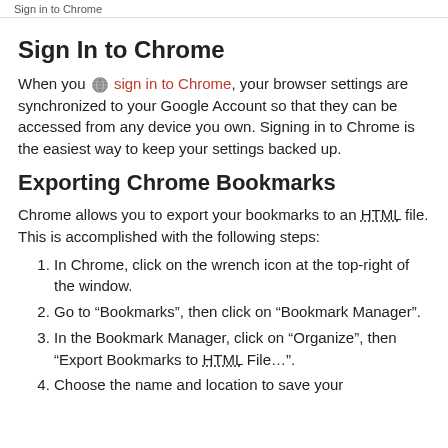Sign in to Chrome
Sign In to Chrome
When you sign in to Chrome, your browser settings are synchronized to your Google Account so that they can be accessed from any device you own. Signing in to Chrome is the easiest way to keep your settings backed up.
Exporting Chrome Bookmarks
Chrome allows you to export your bookmarks to an HTML file. This is accomplished with the following steps:
In Chrome, click on the wrench icon at the top-right of the window.
Go to “Bookmarks”, then click on “Bookmark Manager”.
In the Bookmark Manager, click on “Organize”, then “Export Bookmarks to HTML File…”.
Choose the name and location to save your